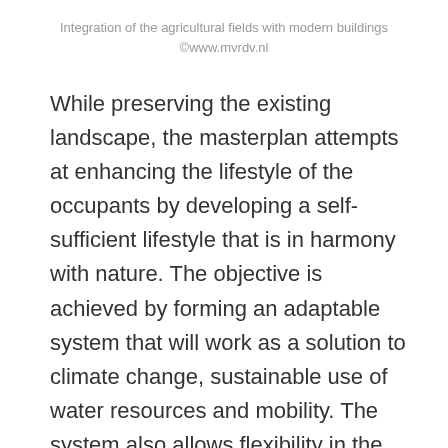Integration of the agricultural fields with modern buildings
©www.mvrdv.nl
While preserving the existing landscape, the masterplan attempts at enhancing the lifestyle of the occupants by developing a self-sufficient lifestyle that is in harmony with nature. The objective is achieved by forming an adaptable system that will work as a solution to climate change, sustainable use of water resources and mobility. The system also allows flexibility in the shape and aesthetics of each building, making it personalized as per its use.